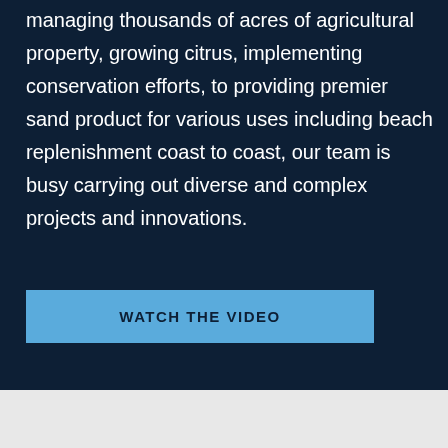managing thousands of acres of agricultural property, growing citrus, implementing conservation efforts, to providing premier sand product for various uses including beach replenishment coast to coast, our team is busy carrying out diverse and complex projects and innovations.
WATCH THE VIDEO